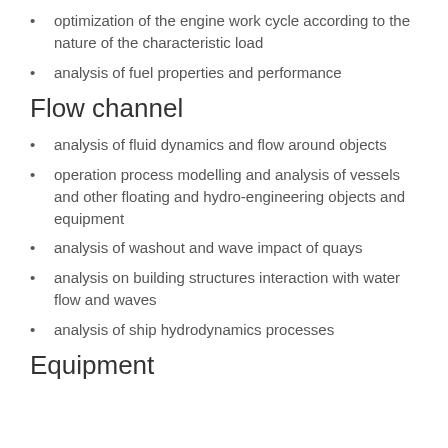optimization of the engine work cycle according to the nature of the characteristic load
analysis of fuel properties and performance
Flow channel
analysis of fluid dynamics and flow around objects
operation process modelling and analysis of vessels and other floating and hydro-engineering objects and equipment
analysis of washout and wave impact of quays
analysis on building structures interaction with water flow and waves
analysis of ship hydrodynamics processes
Equipment